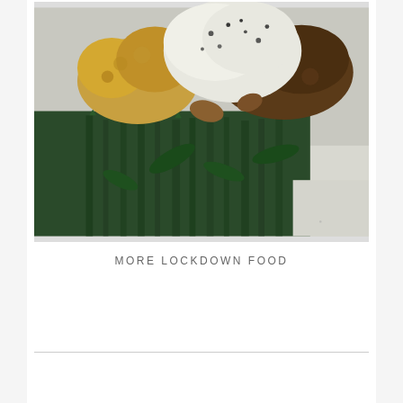[Figure (photo): A close-up food photograph showing green asparagus spears, white cauliflower or mozzarella with black pepper spots, and golden-brown roasted vegetables including what appears to be cauliflower florets and other roasted items on a light surface.]
MORE LOCKDOWN FOOD